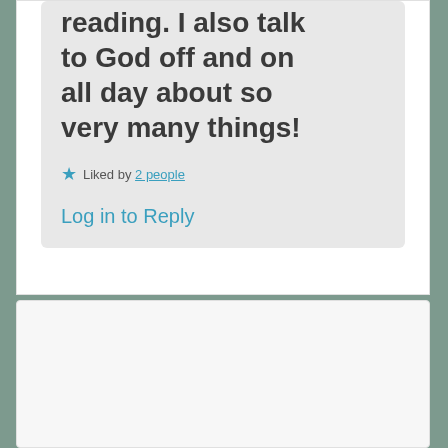reading. I also talk to God off and on all day about so very many things!
★ Liked by 2 people
Log in to Reply
[Figure (photo): Profile photo of a middle-aged man with gray hair, smiling, wearing a dark blue shirt, photographed outdoors]
Sightings Over Sixty